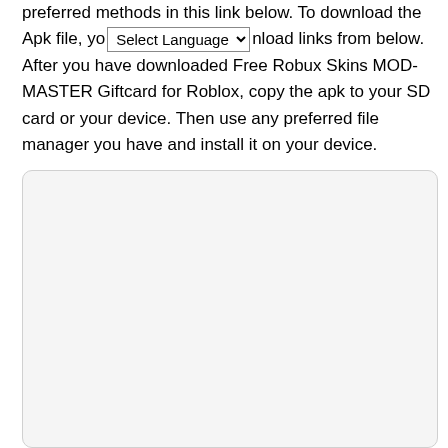preferred methods in this link below. To download the Apk file, you [Select Language ▾] nload links from below. After you have downloaded Free Robux Skins MOD-MASTER Giftcard for Roblox, copy the apk to your SD card or your device. Then use any preferred file manager you have and install it on your device.
[Figure (other): A large rounded-corner light gray box occupying the lower portion of the page, likely an advertisement or embedded content placeholder.]